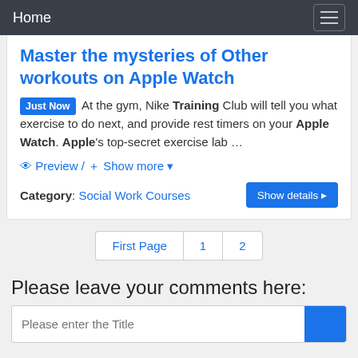Home
Master the mysteries of Other workouts on Apple Watch
Just Now At the gym, Nike Training Club will tell you what exercise to do next, and provide rest timers on your Apple Watch. Apple's top-secret exercise lab …
Preview / + Show more
Category: Social Work Courses
Show details
First Page 1 2
Please leave your comments here:
Please enter the Title